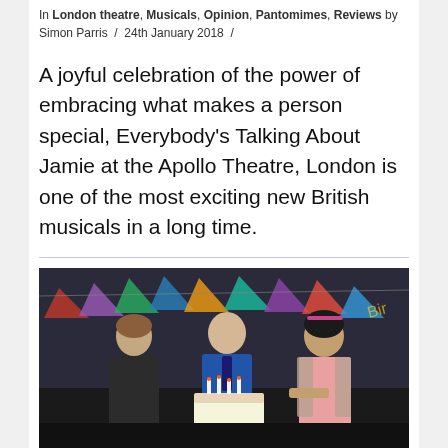In London theatre, Musicals, Opinion, Pantomimes, Reviews by Simon Parris / 24th January 2018 /
A joyful celebration of the power of embracing what makes a person special, Everybody's Talking About Jamie at the Apollo Theatre, London is one of the most exciting new British musicals in a long time.
[Figure (photo): Three actors on stage at a birthday party scene — a man in a dark t-shirt on the left, a person in a suit blowing out candles on a birthday cake in the center, and a woman in a pink top and fur vest on the right. Colorful bunting and decorations are visible in the background.]